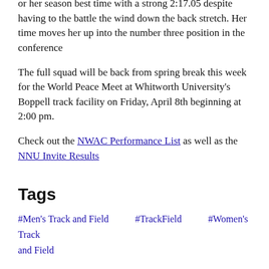or her season best time with a strong 2:17.05 despite having to the battle the wind down the back stretch. Her time moves her up into the number three position in the conference
The full squad will be back from spring break this week for the World Peace Meet at Whitworth University's Boppell track facility on Friday, April 8th beginning at 2:00 pm.
Check out the NWAC Performance List as well as the NNU Invite Results
Tags
#Men's Track and Field
#TrackField
#Women's Track and Field